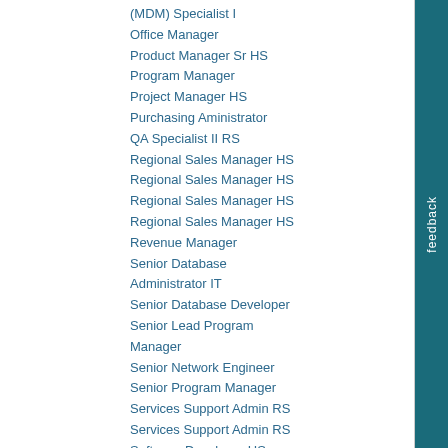(MDM) Specialist I
Office Manager
Product Manager Sr HS
Program Manager
Project Manager HS
Purchasing Aministrator
QA Specialist II RS
Regional Sales Manager HS
Regional Sales Manager HS
Regional Sales Manager HS
Regional Sales Manager HS
Revenue Manager
Senior Database Administrator IT
Senior Database Developer
Senior Lead Program Manager
Senior Network Engineer
Senior Program Manager
Services Support Admin RS
Services Support Admin RS
Software Developer HS
Software Developer HS
Software Test Engineer HS
Software Test Engineer HS
Software Test Engineer HS